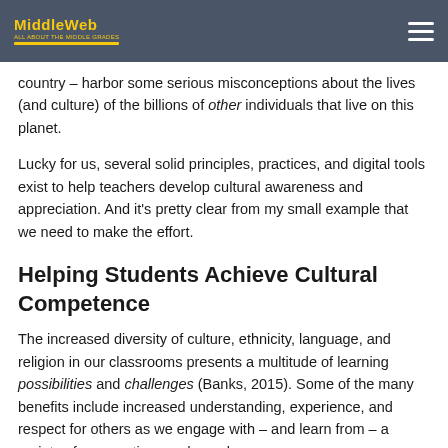MiddleWeb
country – harbor some serious misconceptions about the lives (and culture) of the billions of other individuals that live on this planet.
Lucky for us, several solid principles, practices, and digital tools exist to help teachers develop cultural awareness and appreciation. And it's pretty clear from my small example that we need to make the effort.
Helping Students Achieve Cultural Competence
The increased diversity of culture, ethnicity, language, and religion in our classrooms presents a multitude of learning possibilities and challenges (Banks, 2015). Some of the many benefits include increased understanding, experience, and respect for others as we engage with – and learn from – a variety of perspectives and people.